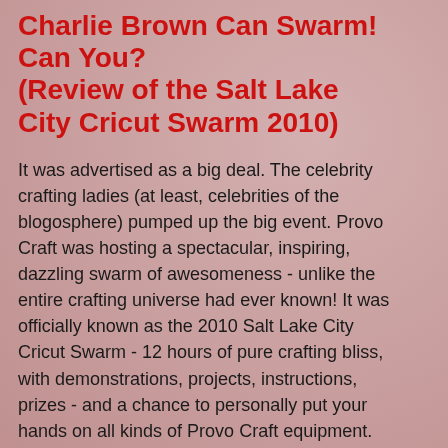Charlie Brown Can Swarm! Can You? (Review of the Salt Lake City Cricut Swarm 2010)
It was advertised as a big deal. The celebrity crafting ladies (at least, celebrities of the blogosphere) pumped up the big event. Provo Craft was hosting a spectacular, inspiring, dazzling swarm of awesomeness - unlike the entire crafting universe had ever known! It was officially known as the 2010 Salt Lake City Cricut Swarm - 12 hours of pure crafting bliss, with demonstrations, projects, instructions, prizes - and a chance to personally put your hands on all kinds of Provo Craft equipment. Every participant would receive a gift bag "filled-to-the-gills."
At first, only members of the elite Cricut Circle Club could purchase tickets to this swarm. For those who live in a cave, Provo Craft created the Cricut Circle Club program where members could pay $274.99 annually to be a member. As a reward, they would receive four new and exclusive cartridges for their Cricut machine. It might not be surprising to realize